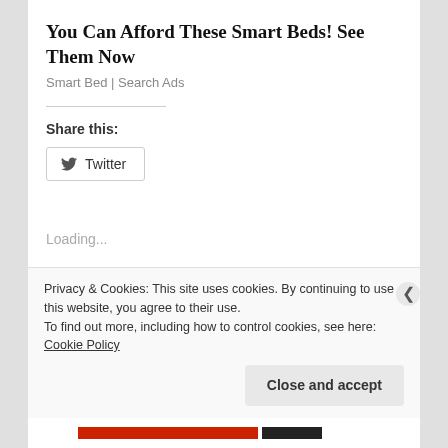You Can Afford These Smart Beds! See Them Now
Smart Bed | Search Ads
Share this:
Twitter
Loading...
Privacy & Cookies: This site uses cookies. By continuing to use this website, you agree to their use.
To find out more, including how to control cookies, see here: Cookie Policy
Close and accept